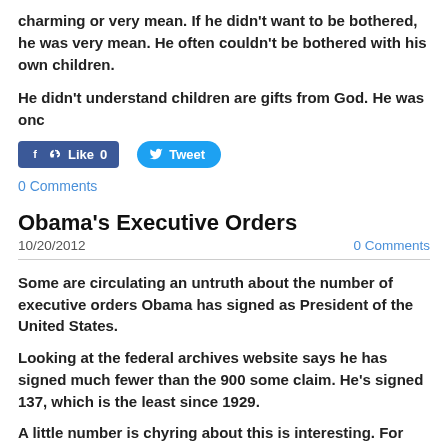charming or very mean.  If he didn't want to be bothered, he was very mean.  He often couldn't be bothered with his own children.
He didn't understand children are gifts from God.  He was onc
[Figure (screenshot): Facebook Like button showing '0' and Twitter Tweet button]
0 Comments
Obama's Executive Orders
10/20/2012
0 Comments
Some are circulating an untruth about the number of executive orders Obama has signed as President of the United States.
Looking at the federal archives website says he has signed much fewer than the 900 some claim.  He's signed 137, which is the least since 1929.
A little number is chyring about this is interesting.  For